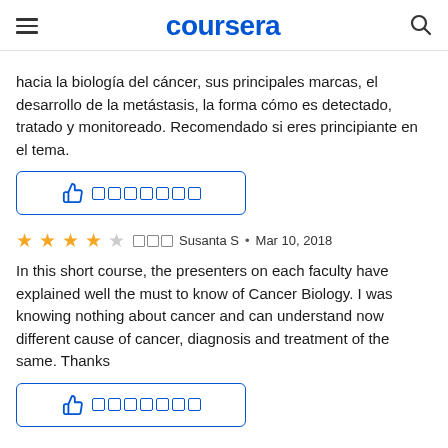coursera
hacia la biología del cáncer, sus principales marcas, el desarrollo de la metástasis, la forma cómo es detectado, tratado y monitoreado. Recomendado si eres principiante en el tema.
[Figure (other): Helpful button with thumbs up icon and redacted text boxes]
★★★★☆ [redacted] Susanta S • Mar 10, 2018
In this short course, the presenters on each faculty have explained well the must to know of Cancer Biology. I was knowing nothing about cancer and can understand now different cause of cancer, diagnosis and treatment of the same. Thanks
[Figure (other): Helpful button with thumbs up icon and redacted text boxes]